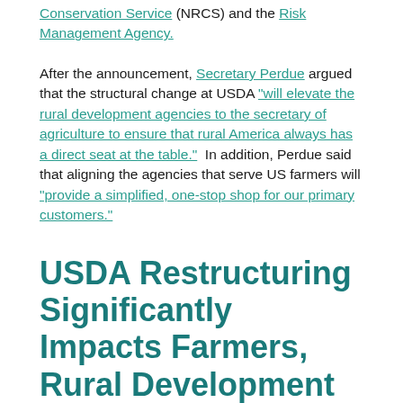Conservation Service (NRCS) and the Risk Management Agency.
After the announcement, Secretary Perdue argued that the structural change at USDA "will elevate the rural development agencies to the secretary of agriculture to ensure that rural America always has a direct seat at the table." In addition, Perdue said that aligning the agencies that serve US farmers will "provide a simplified, one-stop shop for our primary customers."
USDA Restructuring Significantly Impacts Farmers, Rural Development